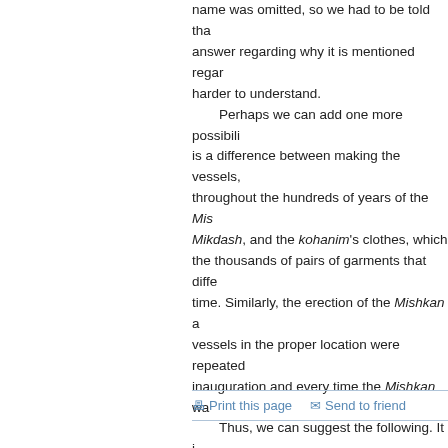name was omitted, so we had to be told that answer regarding why it is mentioned rega harder to understand. Perhaps we can add one more possibil is a difference between making the vessels, throughout the hundreds of years of the Mishkan / Mikdash, and the kohanim's clothes, which the thousands of pairs of garments that diffe time. Similarly, the erection of the Mishkan a vessels in the proper location were repeated inauguration and every time the Mishkan wa Thus, we can suggest the following. It do things right when you know that somethi in history. We got things right, for example, and at the receiving of the Torah at Sinai. T regarding ongoing processes. Thus, the Tor involved the first time the garments and the This, so to speak, set the bar high at the be challenge for further workers and indeed fu things, both in terms of details and intention
Print this page   Send to friend